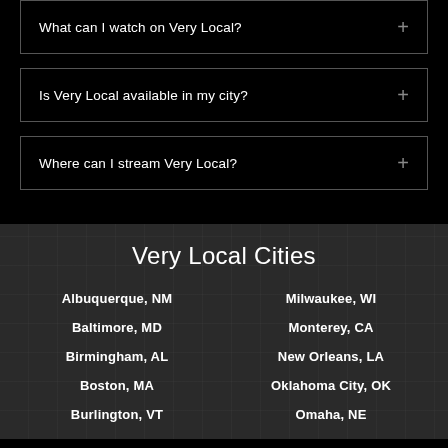What can I watch on Very Local?
Is Very Local available in my city?
Where can I stream Very Local?
Very Local Cities
Albuquerque, NM
Milwaukee, WI
Baltimore, MD
Monterey, CA
Birmingham, AL
New Orleans, LA
Boston, MA
Oklahoma City, OK
Burlington, VT
Omaha, NE